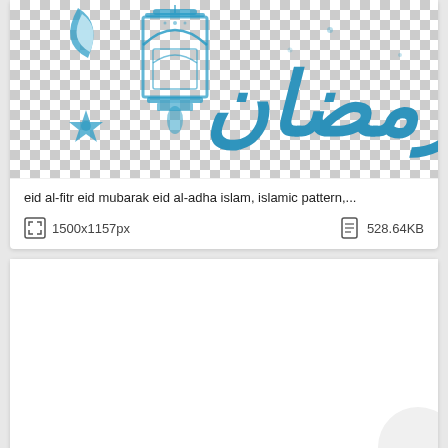[Figure (illustration): Ramadan/Eid themed illustration with Arabic calligraphy reading 'Ramadan', a decorative lantern, crescent moon, and star ornaments on a transparent (checkerboard) background.]
eid al-fitr eid mubarak eid al-adha islam, islamic pattern,...
1500x1157px
528.64KB
[Figure (illustration): Second image card, mostly white/blank content area with a partial circular shape visible at bottom-right corner.]